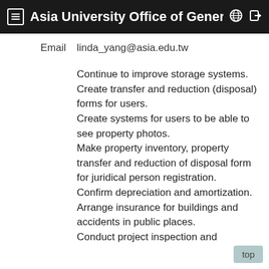Asia University Office of Genera
Email   linda_yang@asia.edu.tw
Continue to improve storage systems.
Create transfer and reduction (disposal) forms for users.
Create systems for users to be able to see property photos.
Make property inventory, property transfer and reduction of disposal form for juridical person registration.
Confirm depreciation and amortization.
Arrange insurance for buildings and accidents in public places.
Conduct project inspection and